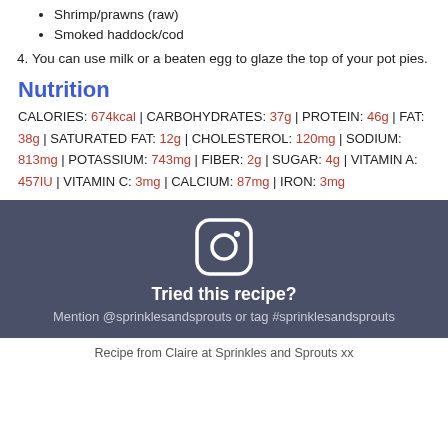Shrimp/prawns (raw)
Smoked haddock/cod
4. You can use milk or a beaten egg to glaze the top of your pot pies.
Nutrition
CALORIES: 674kcal | CARBOHYDRATES: 37g | PROTEIN: 46g | FAT: 38g | SATURATED FAT: 12g | CHOLESTEROL: 120mg | SODIUM: 813mg | POTASSIUM: 743mg | FIBER: 2g | SUGAR: 4g | VITAMIN A: 457IU | VITAMIN C: 3mg | CALCIUM: 87mg | IRON: 3mg
[Figure (logo): Instagram icon (rounded square with circle and dot)]
Tried this recipe? Mention @sprinklesandsprouts or tag #sprinklesandsprouts
Recipe from Claire at Sprinkles and Sprouts xx